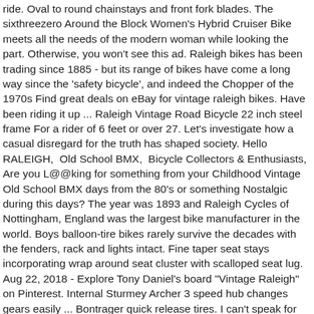ride. Oval to round chainstays and front fork blades. The sixthreezero Around the Block Women's Hybrid Cruiser Bike meets all the needs of the modern woman while looking the part. Otherwise, you won't see this ad. Raleigh bikes has been trading since 1885 - but its range of bikes have come a long way since the 'safety bicycle', and indeed the Chopper of the 1970s Find great deals on eBay for vintage raleigh bikes. Have been riding it up ... Raleigh Vintage Road Bicycle 22 inch steel frame For a rider of 6 feet or over 27. Let's investigate how a casual disregard for the truth has shaped society. Hello RALEIGH,  Old School BMX,  Bicycle Collectors & Enthusiasts, Are you L@@king for something from your Childhood Vintage Old School BMX days from the 80's or something Nostalgic during this days? The year was 1893 and Raleigh Cycles of Nottingham, England was the largest bike manufacturer in the world. Boys balloon-tire bikes rarely survive the decades with the fenders, rack and lights intact. Fine taper seat stays incorporating wrap around seat cluster with scalloped seat lug. Aug 22, 2018 - Explore Tony Daniel's board "Vintage Raleigh" on Pinterest. Internal Sturmey Archer 3 speed hub changes gears easily ... Bontrager quick release tires. I can't speak for the mounts as my bike's seat stem has the rail mount built in so I didn't need the included seat hardware. 22 inch frame (M). My friend gave me this bike as I gift but I never ride it. Fat Men. Fast forward to present day and the company is now a shell of it's former self with eroded market share, completely outsourced